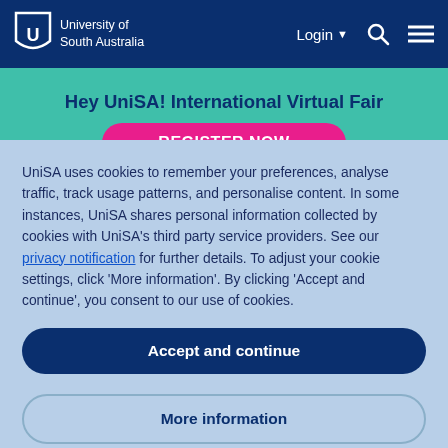University of South Australia — Login — Search — Menu
Hey UniSA! International Virtual Fair
[Figure (other): Pink rounded REGISTER NOW button on teal banner background]
UniSA uses cookies to remember your preferences, analyse traffic, track usage patterns, and personalise content. In some instances, UniSA shares personal information collected by cookies with UniSA's third party service providers. See our privacy notification for further details. To adjust your cookie settings, click 'More information'. By clicking 'Accept and continue', you consent to our use of cookies.
Accept and continue
More information